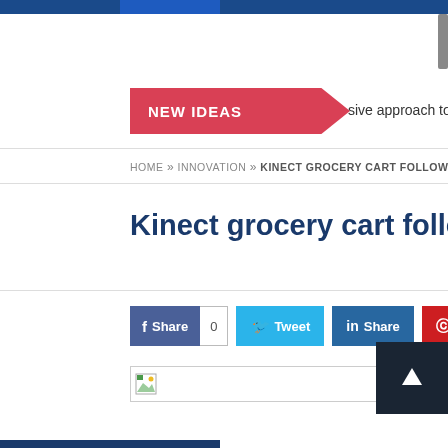NEW IDEAS | sive approach to solar cell manufacturing
HOME » INNOVATION » KINECT GROCERY CART FOLLOWS S
Kinect grocery cart follows sho
Share 0  Tweet  Share  Share
[Figure (screenshot): Broken image placeholder icon]
[Figure (other): Back to top button with upward arrow]